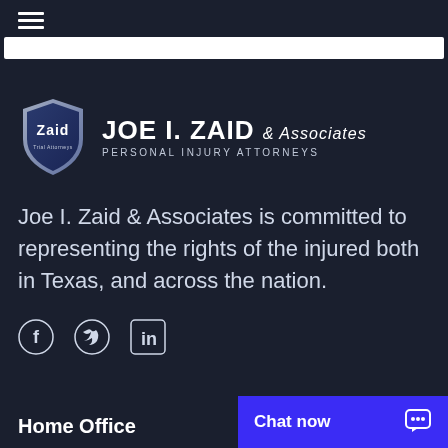[Figure (logo): Joe I. Zaid & Associates Personal Injury Attorneys shield logo with company name]
Joe I. Zaid & Associates is committed to representing the rights of the injured both in Texas, and across the nation.
[Figure (infographic): Social media icons: Facebook, Twitter, LinkedIn]
Chat now
Home Office